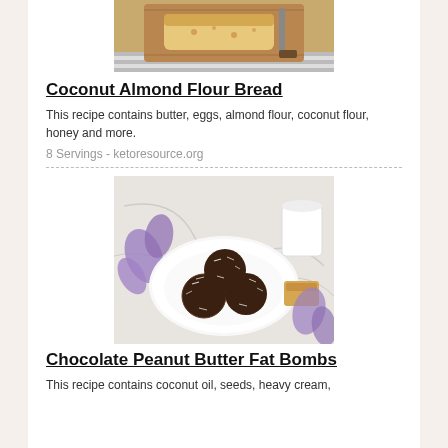[Figure (photo): Photo of coconut almond flour bread on a wooden cutting board with a knife, partially cut, on a striped cloth]
Coconut Almond Flour Bread
This recipe contains butter, eggs, almond flour, coconut flour, honey and more.
8 Servings - ketoresource.org
[Figure (photo): Photo of chocolate peanut butter fat bombs — three round chocolate-coated coconut-dusted balls on a white plate, surrounded by purple flowers, small cookies, and white cups in the background]
Chocolate Peanut Butter Fat Bombs
This recipe contains coconut oil, seeds, heavy cream,